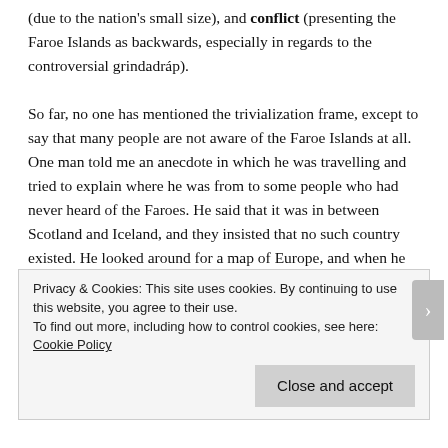(due to the nation's small size), and conflict (presenting the Faroe Islands as backwards, especially in regards to the controversial grindadráp).

So far, no one has mentioned the trivialization frame, except to say that many people are not aware of the Faroe Islands at all. One man told me an anecdote in which he was travelling and tried to explain where he was from to some people who had never heard of the Faroes. He said that it was in between Scotland and Iceland, and they insisted that no such country existed. He looked around for a map of Europe, and when he found one, the map itself was missing the Faroe Islands! He had to find a second map to prove that
Privacy & Cookies: This site uses cookies. By continuing to use this website, you agree to their use.
To find out more, including how to control cookies, see here: Cookie Policy